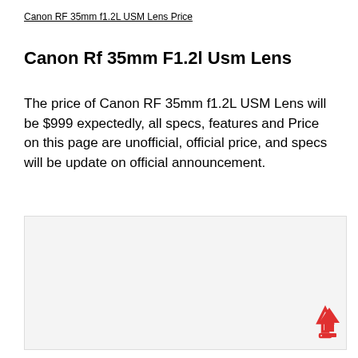Canon RF 35mm f1.2L USM Lens Price
Canon Rf 35mm F1.2l Usm Lens
The price of Canon RF 35mm f1.2L USM Lens will be $999 expectedly, all specs, features and Price on this page are unofficial, official price, and specs will be update on official announcement.
[Figure (other): Advertisement or placeholder image block (light gray rectangle)]